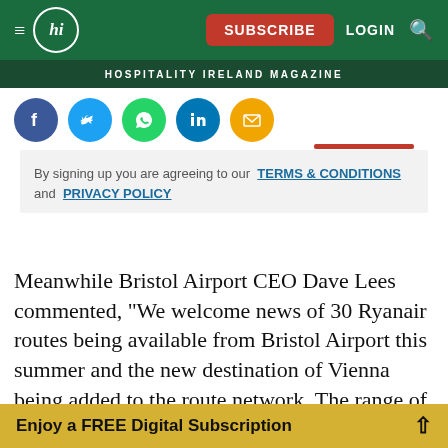HOSPITALITY IRELAND MAGAZINE
[Figure (other): Social media share icons: Facebook, Twitter, WhatsApp, LinkedIn, Email]
By signing up you are agreeing to our TERMS & CONDITIONS and PRIVACY POLICY
Meanwhile Bristol Airport CEO Dave Lees commented, "We welcome news of 30 Ryanair routes being available from Bristol Airport this summer and the new destination of Vienna being added to the route network. The range of routes available offers customers from the south-west and Wales region a choice and flexibility of destinations on their island
Enjoy a FREE Digital Subscription